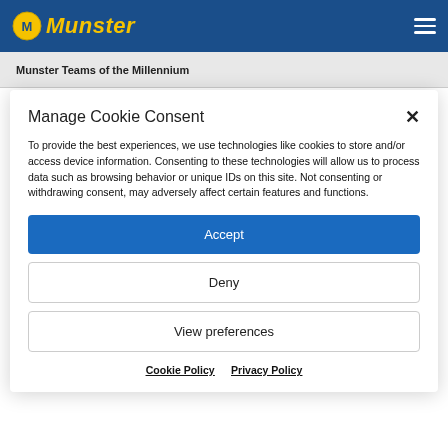Munster
Munster Teams of the Millennium
Manage Cookie Consent
To provide the best experiences, we use technologies like cookies to store and/or access device information. Consenting to these technologies will allow us to process data such as browsing behavior or unique IDs on this site. Not consenting or withdrawing consent, may adversely affect certain features and functions.
Accept
Deny
View preferences
Cookie Policy   Privacy Policy